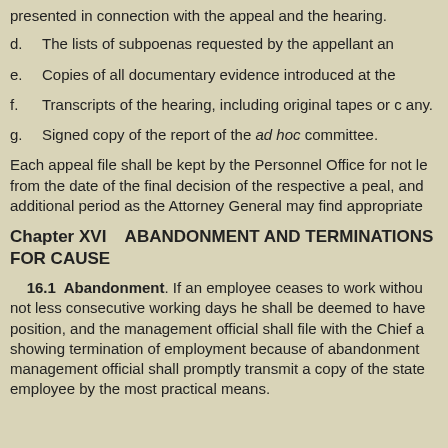presented in connection with the appeal and the hearing.
d.  The lists of subpoenas requested by the appellant an
e.  Copies of all documentary evidence introduced at the
f.  Transcripts of the hearing, including original tapes or c any.
g.  Signed copy of the report of the ad hoc committee.
Each appeal file shall be kept by the Personnel Office for not le from the date of the final decision of the respective a peal, and additional period as the Attorney General may find appropriate
Chapter XVI    ABANDONMENT AND TERMINATIONS FOR CAUSE
16.1  Abandonment. If an employee ceases to work withou not less consecutive working days he shall be deemed to have position, and the management official shall file with the Chief a showing termination of employment because of abandonment management official shall promptly transmit a copy of the state employee by the most practical means.